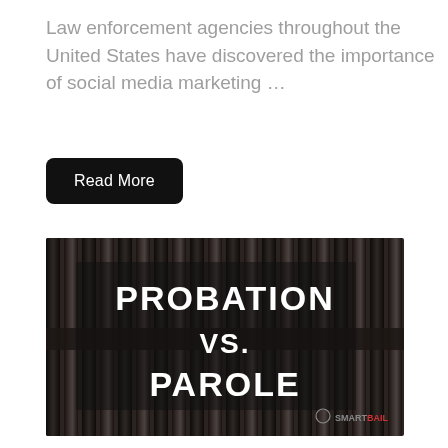Law enforcement agencies throughout the United States have discovered the importance of social media marketing …
Read More
[Figure (photo): Dark prison bars with white bold text overlay reading 'PROBATION VS. PAROLE' and a SmartBail watermark logo in the bottom right corner]
Probation And Parole: What's The Difference?
If you're confused about the difference between